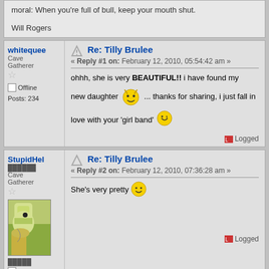moral: When you're full of bull, keep your mouth shut.

Will Rogers
whitequee — Cave Gatherer — Offline — Posts: 234
Re: Tilly Brulee
« Reply #1 on: February 12, 2010, 05:54:42 am »
ohhh, she is very BEAUTIFUL!! i have found my new daughter ... thanks for sharing, i just fall in love with your 'girl band'
StupidHel — Cave Gatherer — Offline
Re: Tilly Brulee
« Reply #2 on: February 12, 2010, 07:36:28 am »
She's very pretty